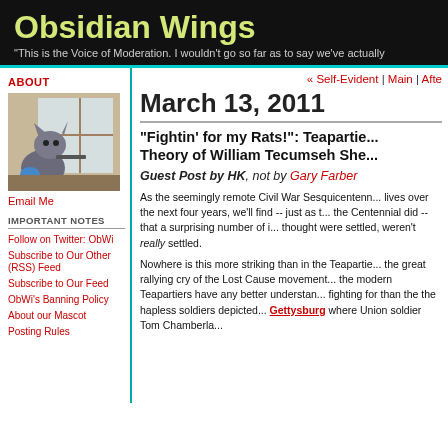Obsidian Wings
"This is the Voice of Moderation. I wouldn't go so far as to say we've actually
ABOUT
[Figure (photo): A cat sitting at a windowsill appearing to aim a toy gun]
Email Me
IMPORTANT NOTES
Follow on Twitter: ObWi
Subscribe to Our Other (RSS) Feed
Subscribe to Our Feed
ObWi's Banning Policy
About our Mascot
Posting Rules
« Self-Evident | Main | Afte
March 13, 2011
"Fightin' for my Rats!": Teapartie... Theory of William Tecumseh She...
Guest Post by HK, not by Gary Farber
As the seemingly remote Civil War Sesquicenten... lives over the next four years, we'll find -- just as t... the Centennial did -- that a surprising number of i... thought were settled, weren't really settled.
Nowhere is this more striking than in the Teapartie... the great rallying cry of the Lost Cause movement... the modern Teapartiers have any better understan... fighting for than the the hapless soldiers depicted... Gettysburg where Union soldier Tom Chamberla...